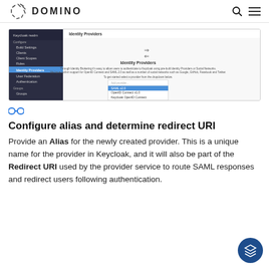DOMINO
[Figure (screenshot): Screenshot of Domino Identity Providers admin panel showing a sidebar navigation with items like Build Settings, Clients, Client Scopes, Roles, Identity Providers, User Federation, Authentication, and a main panel showing 'Identity Providers' with a dropdown menu open listing SAML v2.0, OpenID Connect v1.0, and Keycloak OpenID Connect options.]
[Figure (other): Link chain icon in teal/blue color]
Configure alias and determine redirect URI
Provide an Alias for the newly created provider. This is a unique name for the provider in Keycloak, and it will also be part of the Redirect URI used by the provider service to route SAML responses and redirect users following authentication.